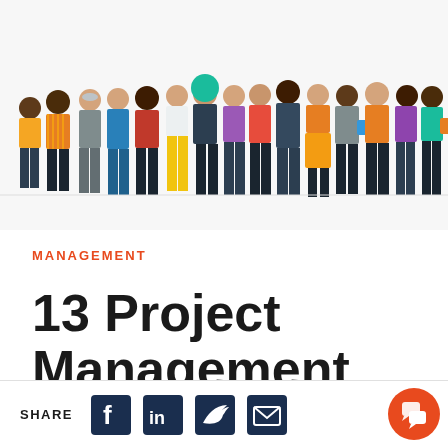[Figure (illustration): Flat design illustration of a diverse group of 14+ people standing together, representing a team. People wear various outfits in orange, blue, grey, red, yellow, purple, black, and teal colors. Men and women of various ethnicities depicted in a modern flat style.]
MANAGEMENT
13 Project Management
SHARE [Facebook] [LinkedIn] [Twitter] [Email]